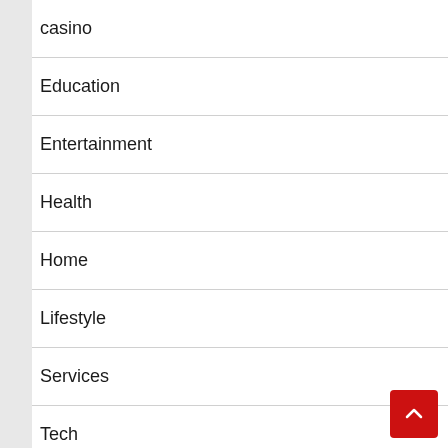casino
Education
Entertainment
Health
Home
Lifestyle
Services
Tech